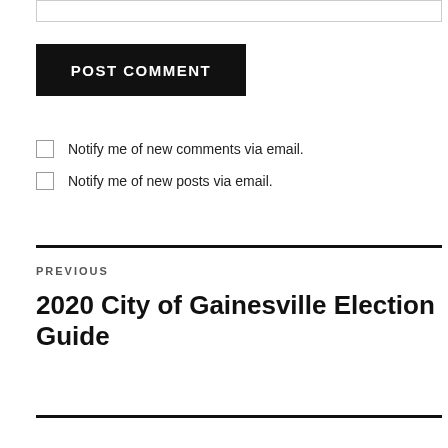POST COMMENT
Notify me of new comments via email.
Notify me of new posts via email.
PREVIOUS
2020 City of Gainesville Election Guide